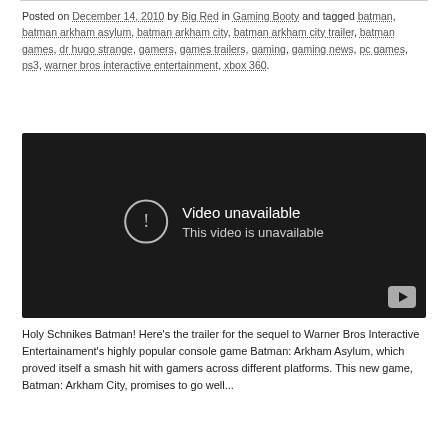Posted on December 14, 2010 by Big Red in Gaming Booty and tagged batman, batman arkham asylum, batman arkham city, batman arkham city trailer, batman games, dr hugo strange, gamers, games trailers, gaming, gaming news, pc games, ps3, warner bros interactive entertainment, xbox 360.
[Figure (screenshot): Embedded video player showing 'Video unavailable' message with YouTube play button in bottom right corner.]
Holy Schnikes Batman! Here's the trailer for the sequel to Warner Bros Interactive Entertainament's highly popular console game Batman: Arkham Asylum, which proved itself a smash hit with gamers across different platforms. This new game, Batman: Arkham City, promises to go well...